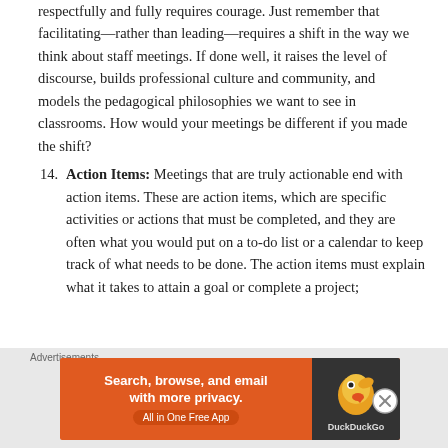respectfully and fully requires courage. Just remember that facilitating—rather than leading—requires a shift in the way we think about staff meetings. If done well, it raises the level of discourse, builds professional culture and community, and models the pedagogical philosophies we want to see in classrooms. How would your meetings be different if you made the shift?
14. Action Items: Meetings that are truly actionable end with action items. These are action items, which are specific activities or actions that must be completed, and they are often what you would put on a to-do list or a calendar to keep track of what needs to be done. The action items must explain what it takes to attain a goal or complete a project;
[Figure (other): DuckDuckGo advertisement banner: 'Search, browse, and email with more privacy. All in One Free App' with DuckDuckGo logo on dark background]